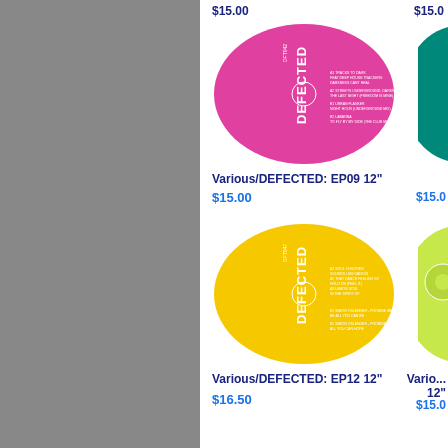$15.00 (top left price, cropped)
$15.0... (top right price, cropped)
[Figure (illustration): Pink/magenta vinyl record label with DEFECTED logo and tracklist for EP09 12"]
Various/DEFECTED: EP09 12"
$15.00
[Figure (illustration): Teal/cyan vinyl record label, partially visible on right side]
$15.0... (right column price)
[Figure (illustration): Yellow vinyl record label with DEFECTED logo and tracklist for EP12 12"]
Various/DEFECTED: EP12 12"
$16.50
[Figure (illustration): Yellow-green partial vinyl record label visible on right side]
Vario... 12"
$15.0...